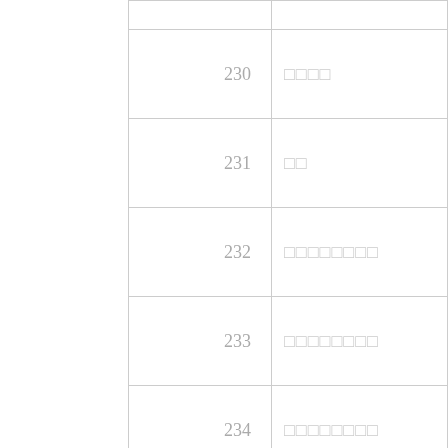| 230 | □□□□ |
| 231 | □□ |
| 232 | □□□□□□□□ |
| 233 | □□□□□□□□ |
| 234 | □□□□□□□□ |